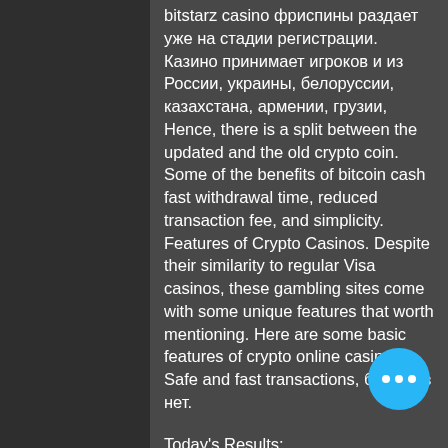bitstarz casino фриспины раздает уже на стадии регистрации. Казино принимает игроков и из России, украины, белоруссии, казахстана, армении, грузии,
Hence, there is a split between the updated and the old crypto coin. Some of the benefits of bitcoin cash fast withdrawal time, reduced transaction fee, and simplicity. Features of Crypto Casinos. Despite their similarity to regular Visa casinos, these gambling sites come with some unique features that worth mentioning. Here are some basic features of crypto online casinos: Safe and fast transactions, битстарз нет.
Today's Results:
Bells on Fire - 670 ltc
Energy Stars - 192.1 usdt
Jade Heaven - 190.2 bch
Steam Tower - 137.9 bch
Magic Portals - 554.9 eth